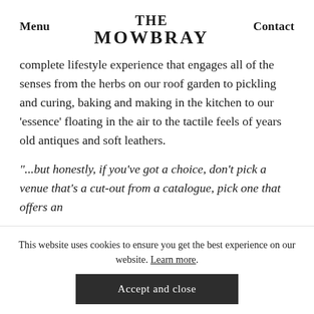THE MOWBRAY | Menu | Contact
complete lifestyle experience that engages all of the senses from the herbs on our roof garden to pickling and curing, baking and making in the kitchen to our 'essence' floating in the air to the tactile feels of years old antiques and soft leathers.
"...but honestly, if you've got a choice, don't pick a venue that's a cut-out from a catalogue, pick one that offers an
This website uses cookies to ensure you get the best experience on our website. Learn more.
Accept and close